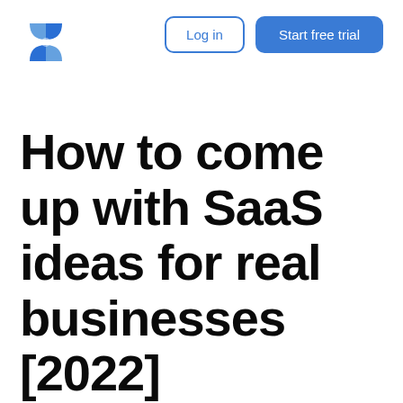[Figure (logo): Blue shield/diamond logo icon composed of overlapping geometric shapes]
Log in | Start free trial
How to come up with SaaS ideas for real businesses [2022]